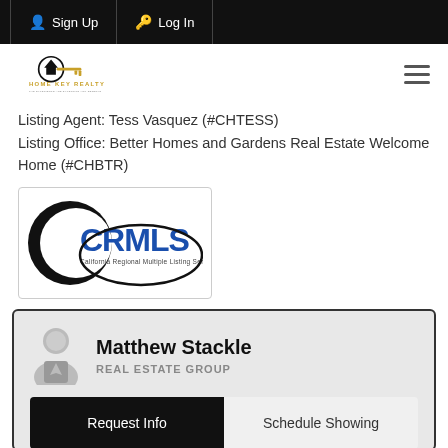Sign Up  Log In
[Figure (logo): Home Key Realty logo with key icon and text]
Listing Agent: Tess Vasquez (#CHTESS)
Listing Office: Better Homes and Gardens Real Estate Welcome Home (#CHBTR)
[Figure (logo): CRMLS – California Regional Multiple Listing Service, Inc. logo]
Matthew Stackle
REAL ESTATE GROUP
Request Info   Schedule Showing